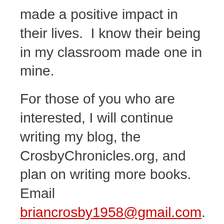made a positive impact in their lives.  I know their being in my classroom made one in mine.
For those of you who are interested, I will continue writing my blog, the CrosbyChronicles.org, and plan on writing more books.  Email briancrosby1958@gmail.com.
God bless and stay well.